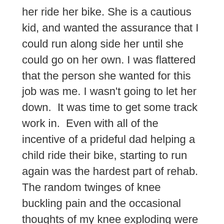her ride her bike. She is a cautious kid, and wanted the assurance that I could run along side her until she could go on her own. I was flattered that the person she wanted for this job was me. I wasn't going to let her down.  It was time to get some track work in.  Even with all of the incentive of a prideful dad helping a child ride their bike, starting to run again was the hardest part of rehab. The random twinges of knee buckling pain and the occasional thoughts of my knee exploding were minor obstacles. The big obstacle was the massive disappointment when I realized how pathetic my running was. It was 7 months after my surgery. I had been walking normally, negotiating stairs, had full range of motion and balance, and as well into a good strengthening routine. When I hit the track for the first